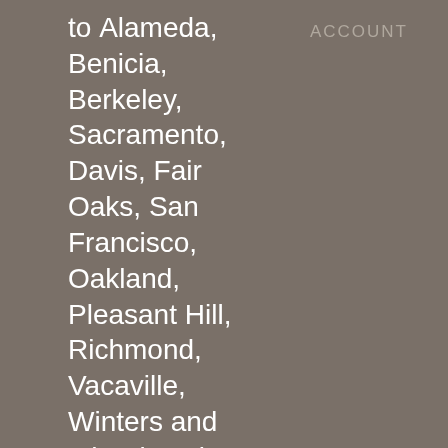ACCOUNT
to Alameda, Benicia, Berkeley, Sacramento, Davis, Fair Oaks, San Francisco, Oakland, Pleasant Hill, Richmond, Vacaville, Winters and other locations.